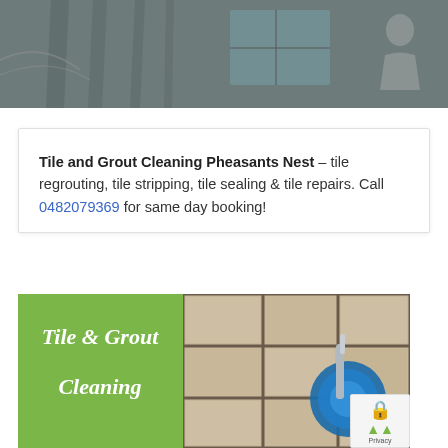[Figure (photo): Top banner photo showing a bathroom or tiled room interior, dark/grey tones with a person partially visible at right side.]
Tile and Grout Cleaning Pheasants Nest – tile regrouting, tile stripping, tile sealing & tile repairs. Call 0482079369 for same day booking!
[Figure (photo): Photo of tiled floor being cleaned with a blue rotary cleaning machine. Green overlay box on left side reads 'Tile & Grout Cleaning' in white italic text.]